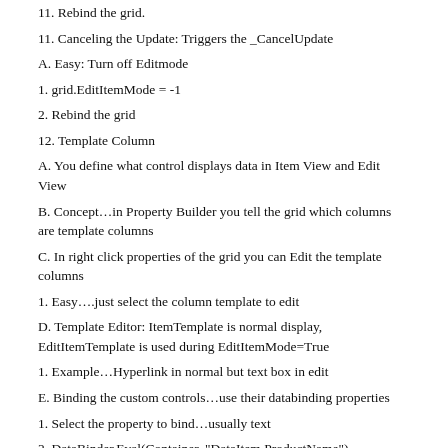11. Rebind the grid.
11. Canceling the Update: Triggers the _CancelUpdate
A. Easy: Turn off Editmode
1. grid.EditItemMode = -1
2. Rebind the grid
12. Template Column
A. You define what control displays data in Item View and Edit View
B. Concept…in Property Builder you tell the grid which columns are template columns
C. In right click properties of the grid you can Edit the template columns
1. Easy….just select the column template to edit
D. Template Editor: ItemTemplate is normal display, EditItemTemplate is used during EditItemMode=True
1. Example…Hyperlink in normal but text box in edit
E. Binding the custom controls…use their databinding properties
1. Select the property to bind…usually text
2. DataBinder.Eval(Container, "DataItem.ProductName")
F. And modify the UpdateCommand
1. In most cases you now have two controls in the template…(0) is the first one for display and the (1) is used for edit.
2. Modify the UpdateCommand to get data from the edit (1) control.